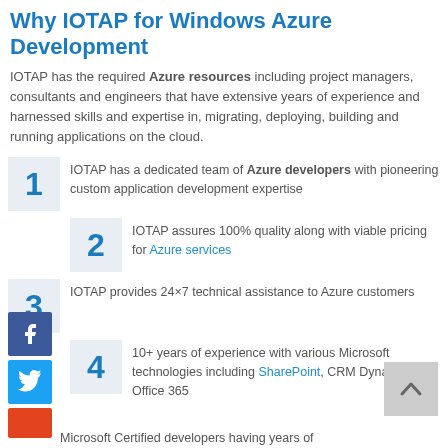Why IOTAP for Windows Azure Development
IOTAP has the required Azure resources including project managers, consultants and engineers that have extensive years of experience and harnessed skills and expertise in, migrating, deploying, building and running applications on the cloud.
IOTAP has a dedicated team of Azure developers with pioneering custom application development expertise
IOTAP assures 100% quality along with viable pricing for Azure services
IOTAP provides 24×7 technical assistance to Azure customers
10+ years of experience with various Microsoft technologies including SharePoint, CRM Dynamics and Office 365
Microsoft Certified developers having years of